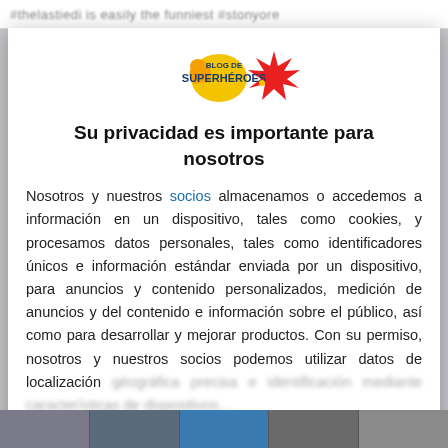#thelastiedi is easily the funniest #stonyore
[Figure (logo): Blog de Superheroes logo with muscular arm and red star burst]
Su privacidad es importante para nosotros
Nosotros y nuestros socios almacenamos o accedemos a información en un dispositivo, tales como cookies, y procesamos datos personales, tales como identificadores únicos e información estándar enviada por un dispositivo, para anuncios y contenido personalizados, medición de anuncios y del contenido e información sobre el público, así como para desarrollar y mejorar productos. Con su permiso, nosotros y nuestros socios podemos utilizar datos de localización
ACEPTAR
MÁS OPCIONES